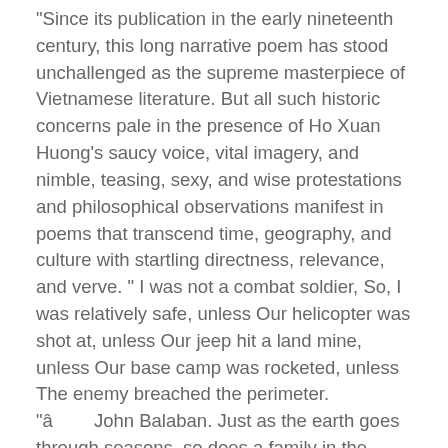Since its publication in the early nineteenth century, this long narrative poem has stood unchallenged as the supreme masterpiece of Vietnamese literature. But all such historic concerns pale in the presence of Ho Xuan Huong's saucy voice, vital imagery, and nimble, teasing, sexy, and wise protestations and philosophical observations manifest in poems that transcend time, geography, and culture with startling directness, relevance, and verve. " I was not a combat soldier, So, I was relatively safe, unless Our helicopter was shot at, unless Our jeep hit a land mine, unless Our base camp was rocketed, unless The enemy breached the perimeter. "â        John Balaban. Just as the earth goes through seasons, so does a family in the course of time endure seasons. Posts about Family written by NDTD. Skip to content. Often in western society, we stray far from our family and may not talk to them for years at a time.